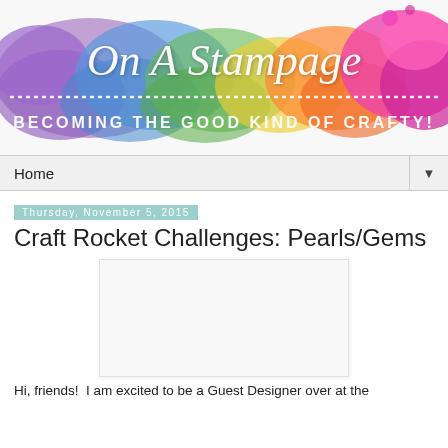[Figure (illustration): On A Stampage blog header banner with colorful watercolor paint splashes in rainbow colors (purple, blue, green, yellow, orange, pink) and white script text reading 'On A Stampage' with dotted border and subtitle 'BECOMING THE GOOD KIND OF CRAFTY!']
Home ▼
Thursday, November 5, 2015
Craft Rocket Challenges: Pearls/Gems
[Figure (photo): Blank/white craft card image placeholder]
Hi, friends!  I am excited to be a Guest Designer over at the